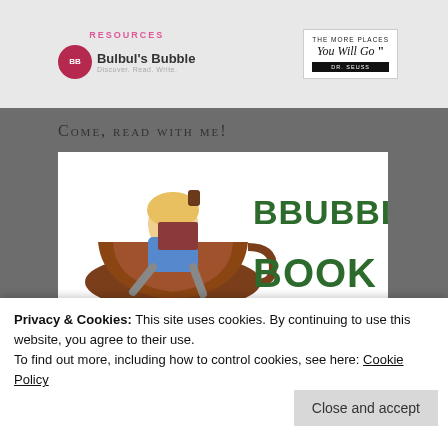[Figure (logo): Bulbul's Bubble blog banner with RESOURCES text, circular BB logo, and Dr. Seuss quote 'The more places you will go']
Come, read with me!
[Figure (illustration): BBubble Book Club banner with illustration of girl sitting in a giant teacup reading, and green block text 'BBUBBLE BOOK CLUB']
Privacy & Cookies: This site uses cookies. By continuing to use this website, you agree to their use.
To find out more, including how to control cookies, see here: Cookie Policy
Close and accept
by Henry Fielding